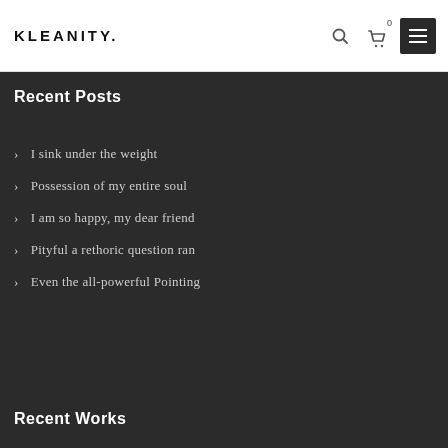KLEANITY.
Recent Posts
I sink under the weight
Possession of my entire soul
I am so happy, my dear friend
Pityful a rethoric question ran
Even the all-powerful Pointing
Recent Works